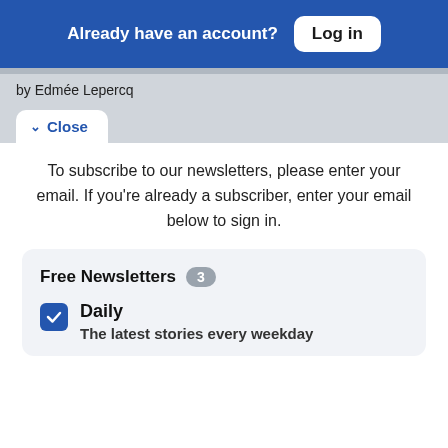Already have an account? Log in
by Edmée Lepercq
Close
To subscribe to our newsletters, please enter your email. If you're already a subscriber, enter your email below to sign in.
Free Newsletters 3
Daily — The latest stories every weekday